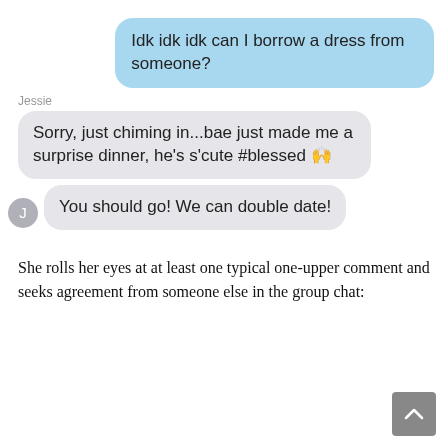[Figure (screenshot): Chat screenshot showing sent message bubble: 'Idk idk idk can I borrow a dress from someone?' in blue, then received messages from Jessie: 'Sorry, just chiming in...bae just made me a surprise dinner, he’s s’cute #blessed 🥺' and 'You should go! We can double date!' with avatar J]
She rolls her eyes at at least one typical one-upper comment and seeks agreement from someone else in the group chat: